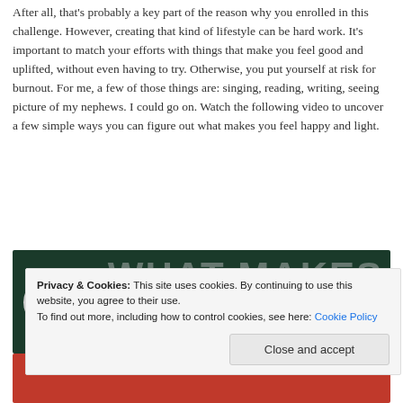After all, that's probably a key part of the reason why you enrolled in this challenge. However, creating that kind of lifestyle can be hard work. It's important to match your efforts with things that make you feel good and uplifted, without even having to try. Otherwise, you put yourself at risk for burnout. For me, a few of those things are: singing, reading, writing, seeing picture of my nephews. I could go on. Watch the following video to uncover a few simple ways you can figure out what makes you feel happy and light.
[Figure (screenshot): Video thumbnail showing 'What Are The Things That...' with a logo circle on the left and large 'WHAT MAKES' text in the background on a dark green background.]
Privacy & Cookies: This site uses cookies. By continuing to use this website, you agree to their use.
To find out more, including how to control cookies, see here: Cookie Policy
Close and accept